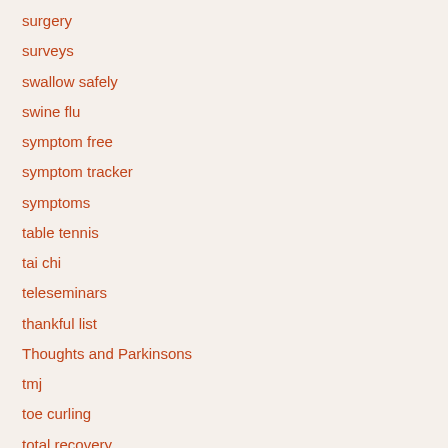surgery
surveys
swallow safely
swine flu
symptom free
symptom tracker
symptoms
table tennis
tai chi
teleseminars
thankful list
Thoughts and Parkinsons
tmj
toe curling
total recovery